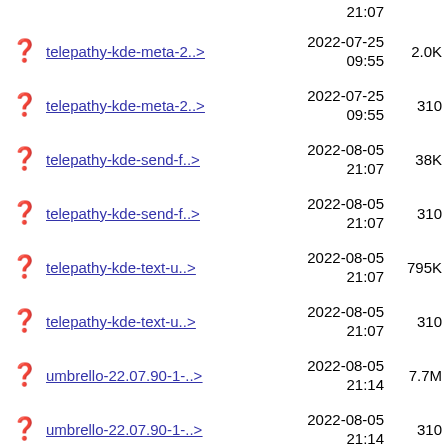telepathy-kde-meta-2..> 2022-07-25 09:55 2.0K
telepathy-kde-meta-2..> 2022-07-25 09:55 310
telepathy-kde-send-f..> 2022-08-05 21:07 38K
telepathy-kde-send-f..> 2022-08-05 21:07 310
telepathy-kde-text-u..> 2022-08-05 21:07 795K
telepathy-kde-text-u..> 2022-08-05 21:07 310
umbrello-22.07.90-1-..> 2022-08-05 21:14 7.7M
umbrello-22.07.90-1-..> 2022-08-05 21:14 310
yakuake-22.07.90-1-x..> 2022-08-05 21:19 414K
yakuake-22.07.90-1-x..> 2022-08-05 21:19 310
zanshin-22.07.90-1-x..> 2022-08-05 21:11 668K